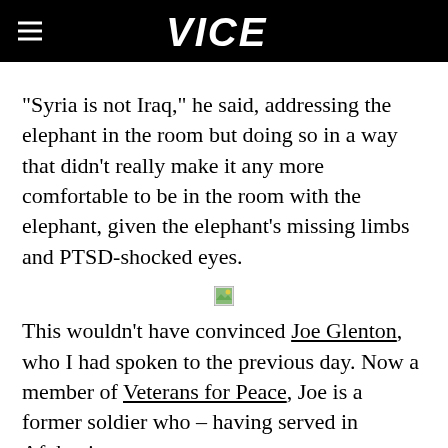VICE
"Syria is not Iraq," he said, addressing the elephant in the room but doing so in a way that didn't really make it any more comfortable to be in the room with the elephant, given the elephant's missing limbs and PTSD-shocked eyes.
[Figure (photo): Broken/missing image placeholder]
This wouldn't have convinced Joe Glenton, who I had spoken to the previous day. Now a member of Veterans for Peace, Joe is a former soldier who – having served in Afghanistan –